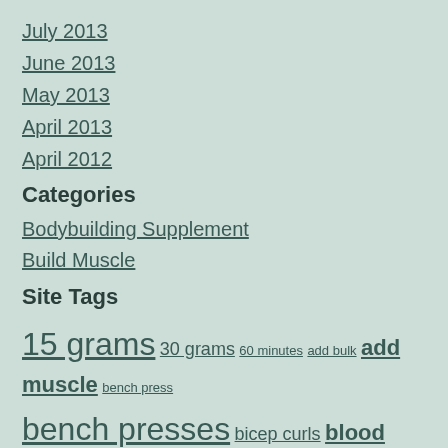July 2013
June 2013
May 2013
April 2013
April 2012
Categories
Bodybuilding Supplement
Build Muscle
Site Tags
15 grams  30 grams  60 minutes  add bulk  add muscle  bench press  bench presses  bicep curls  blood flow  bodybuilding routine